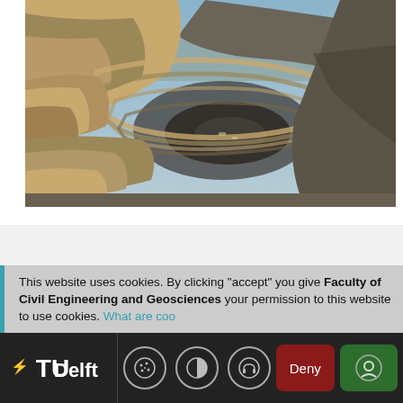[Figure (photo): Aerial photograph of an open-pit mine showing terraced rock layers with swirling geological strata in shades of tan, grey, and brown against a blue sky backdrop.]
This website uses cookies. By clicking "accept" you give your permission to this website to use cookies. What are cookies
Faculty of Civil Engineering and Geosciences
ECs: 30
Language: English